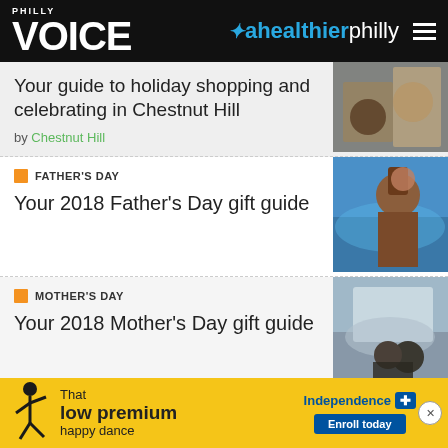Philly Voice | ahealthierphilly
Your guide to holiday shopping and celebrating in Chestnut Hill
by Chestnut Hill
FATHER'S DAY
Your 2018 Father's Day gift guide
MOTHER'S DAY
Your 2018 Mother's Day gift guide
WINE
Sparking wine gift ideas for February, the month of love
[Figure (illustration): Advertisement banner: That low premium happy dance - Independence Blue Cross, Enroll today]